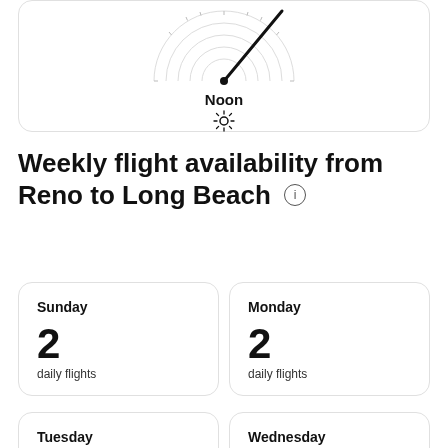[Figure (other): Partial clock face showing needle pointing upper-right, with concentric arc grid lines and tick marks. Below the clock face is the label 'Noon' with a sun icon.]
Weekly flight availability from Reno to Long Beach ℹ
Sunday
2
daily flights
Monday
2
daily flights
Tuesday
Wednesday